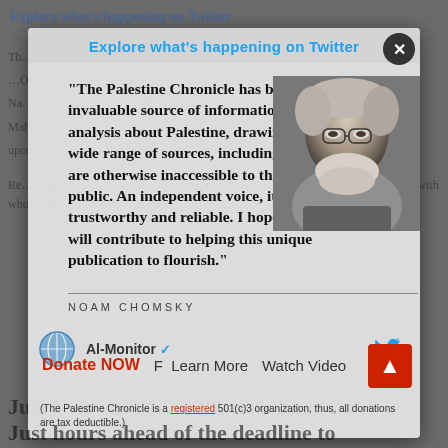Explore what's happening on Twitter
[Figure (photo): Black and white portrait photo of Noam Chomsky, an elderly man with glasses and white beard]
"The Palestine Chronicle has been an invaluable source of information and analysis about Palestine, drawing from a wide range of sources, including many that are otherwise inaccessible to the concerned public. An independent voice, it has been trustworthy and reliable. I hope that you will contribute to helping this unique publication to flourish."
NOAM CHOMSKY
Donate NOW   Learn More   Watch Video
(The Palestine Chronicle is a registered 501(c)3 organization, thus, all donations are tax deductible.)
Just hours ahead of the deadline to